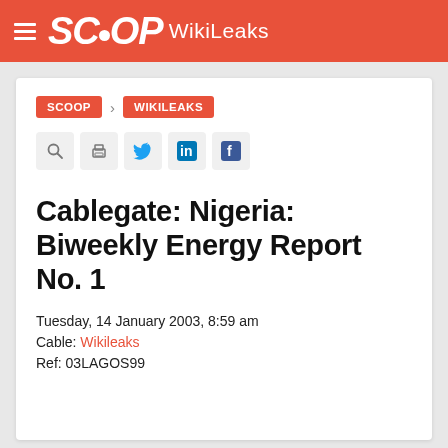SCOOP WikiLeaks
SCOOP > WIKILEAKS
[Figure (other): Social sharing icons row: search, print, Twitter, LinkedIn, Facebook]
Cablegate: Nigeria: Biweekly Energy Report No. 1
Tuesday, 14 January 2003, 8:59 am
Cable: Wikileaks
Ref: 03LAGOS99